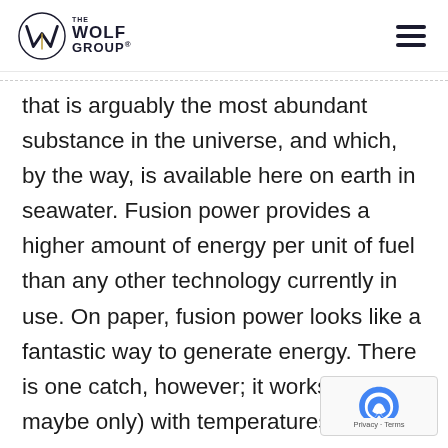THE WOLF GROUP
that is arguably the most abundant substance in the universe, and which, by the way, is available here on earth in seawater. Fusion power provides a higher amount of energy per unit of fuel than any other technology currently in use. On paper, fusion power looks like a fantastic way to generate energy. There is one catch, however; it works best (or maybe only) with temperatures around 15,000,000 K.